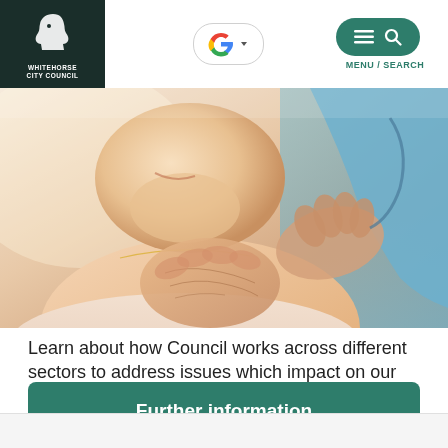Whitehorse City Council — website header with Google search and Menu/Search button
[Figure (photo): Close-up photo of an elderly woman smiling, with a healthcare worker in blue placing a reassuring hand on her shoulder and chest]
Learn about how Council works across different sectors to address issues which impact on our sense of safety
Further information